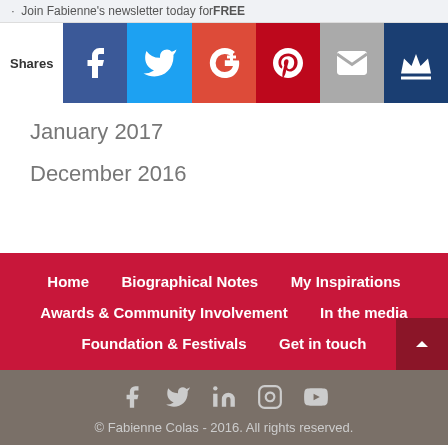Join Fabienne's newsletter today for FREE
[Figure (infographic): Social share bar with Shares label and icons: Facebook (blue), Twitter (light blue), Google+ (red-orange), Pinterest (dark red), Email (grey), Crown/bookmark (dark blue)]
January 2017
December 2016
Home   Biographical Notes   My Inspirations   Awards & Community Involvement   In the media   Foundation & Festivals   Get in touch
© Fabienne Colas - 2016. All rights reserved.